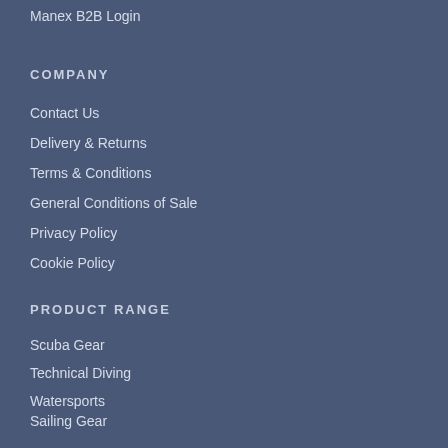Manex B2B Login
COMPANY
Contact Us
Delivery & Returns
Terms & Conditions
General Conditions of Sale
Privacy Policy
Cookie Policy
PRODUCT RANGE
Scuba Gear
Technical Diving
Watersports
Sailing Gear
Snorkeling Gear
Photo & Video